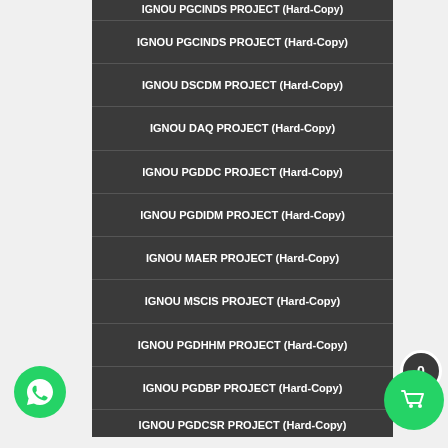IGNOU PGCINDS PROJECT (Hard-Copy)
IGNOU DSCDM PROJECT (Hard-Copy)
IGNOU DAQ PROJECT (Hard-Copy)
IGNOU PGDDC PROJECT (Hard-Copy)
IGNOU PGDIDM PROJECT (Hard-Copy)
IGNOU MAER PROJECT (Hard-Copy)
IGNOU MSCIS PROJECT (Hard-Copy)
IGNOU PGDHHM PROJECT (Hard-Copy)
IGNOU PGDBP PROJECT (Hard-Copy)
IGNOU PGDCSR PROJECT (Hard-Copy)